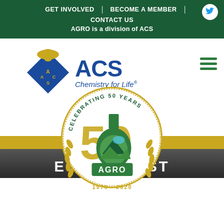GET INVOLVED | BECOME A MEMBER | CONTACT US | AGRO is a division of ACS
[Figure (logo): ACS Chemistry for Life logo with eagle and diamond emblem]
[Figure (logo): ACS AGRO Celebrating 50 Years 1970-2020 anniversary badge with flask and wheat]
EVENTS LIST